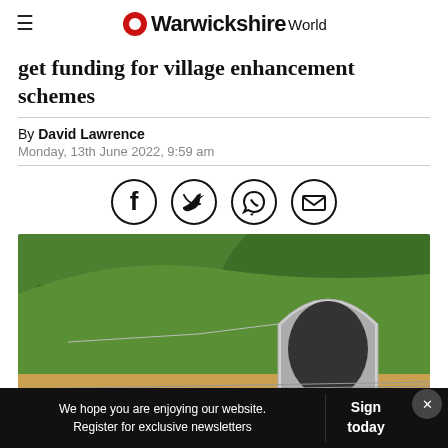Warwickshire World
get funding for village enhancement schemes
By David Lawrence
Monday, 13th June 2022, 9:59 am
[Figure (infographic): Four social sharing icons in circles: Facebook, Twitter, WhatsApp, Email]
[Figure (photo): Aerial rendering of a green hillside tunnel entrance with railway or road passing through, trees in background]
We hope you are enjoying our website. Register for exclusive newsletters